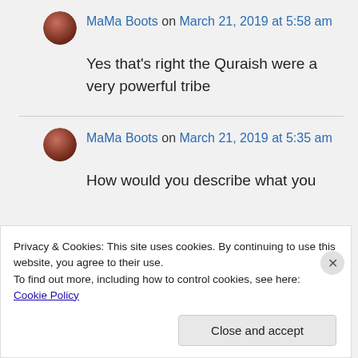MaMa Boots on March 21, 2019 at 5:58 am
Yes that's right the Quraish were a very powerful tribe
MaMa Boots on March 21, 2019 at 5:35 am
How would you describe what you
Privacy & Cookies: This site uses cookies. By continuing to use this website, you agree to their use.
To find out more, including how to control cookies, see here: Cookie Policy